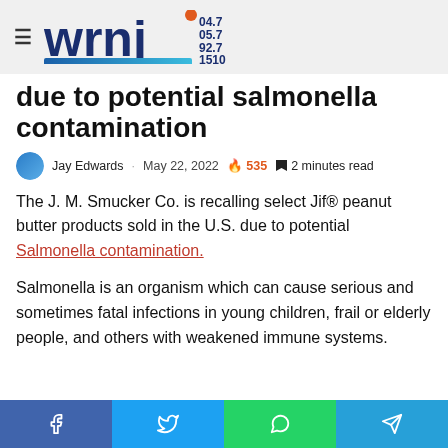[Figure (logo): WRNJ radio station logo with hamburger menu icon. Logo shows 'wrnj' in dark blue bold text with frequencies 04.7, 05.7, 92.7, 1510 and tagline NORTHWEST JERSEY'S OWN]
due to potential salmonella contamination
Jay Edwards · May 22, 2022 🔥 535 🔖 2 minutes read
The J. M. Smucker Co. is recalling select Jif® peanut butter products sold in the U.S. due to potential Salmonella contamination.
Salmonella is an organism which can cause serious and sometimes fatal infections in young children, frail or elderly people, and others with weakened immune systems.